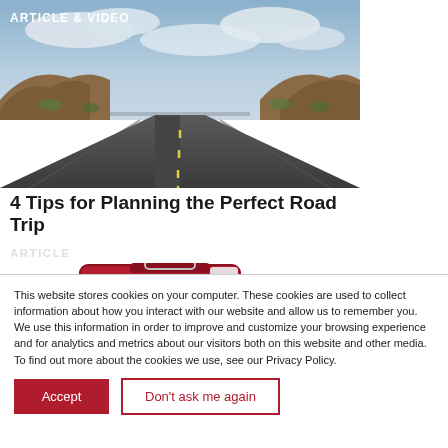[Figure (photo): Road trip photo showing a straight open road in a desert landscape with rocky hills and scrubby vegetation under a partly cloudy sky. Text overlay reads ARTICLE & VIDEO.]
4 Tips for Planning the Perfect Road Trip
ARTICLE
[Figure (photo): Partial view of red luggage or a travel bag.]
This website stores cookies on your computer. These cookies are used to collect information about how you interact with our website and allow us to remember you. We use this information in order to improve and customize your browsing experience and for analytics and metrics about our visitors both on this website and other media. To find out more about the cookies we use, see our Privacy Policy.
Accept
Don't ask me again